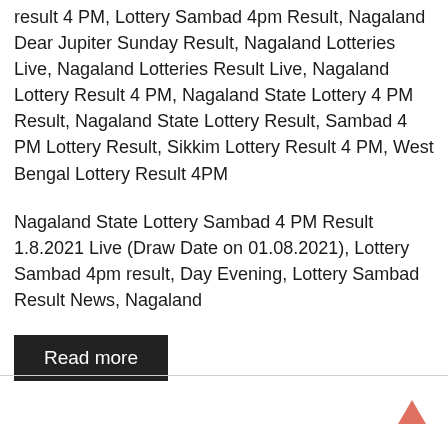result 4 PM, Lottery Sambad 4pm Result, Nagaland Dear Jupiter Sunday Result, Nagaland Lotteries Live, Nagaland Lotteries Result Live, Nagaland Lottery Result 4 PM, Nagaland State Lottery 4 PM Result, Nagaland State Lottery Result, Sambad 4 PM Lottery Result, Sikkim Lottery Result 4 PM, West Bengal Lottery Result 4PM
Nagaland State Lottery Sambad 4 PM Result 1.8.2021 Live (Draw Date on 01.08.2021), Lottery Sambad 4pm result, Day Evening, Lottery Sambad Result News, Nagaland
Read more
[Figure (other): Upward arrow icon in salmon/pink-red color at the bottom right of the page]